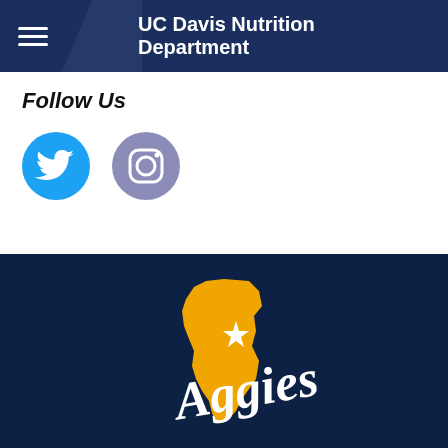UC Davis Nutrition Department
Follow Us
[Figure (logo): Twitter bird icon in white on cyan circle]
[Figure (logo): Instagram camera icon in white on purple circle]
[Figure (logo): UC Davis Aggies logo: yellow California state shape with a white star and white cursive Aggies text, on dark navy background]